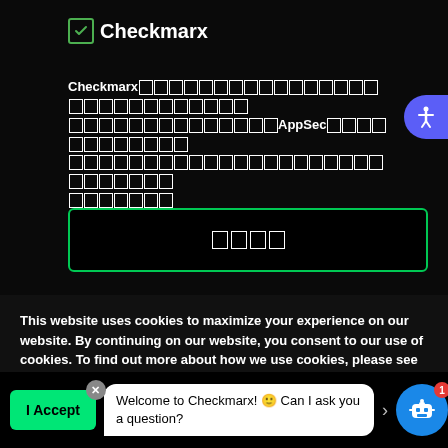[Figure (logo): Checkmarx logo with green checkbox icon and white text]
Checkmarx [garbled text] AppSec [garbled text]
[Figure (screenshot): Input field with green border containing garbled characters]
This website uses cookies to maximize your experience on our website. By continuing on our website, you consent to our use of cookies. To find out more about how we use cookies, please see our Cookie Policy.
I Accept
Welcome to Checkmarx! 🙂 Can I ask you a question?